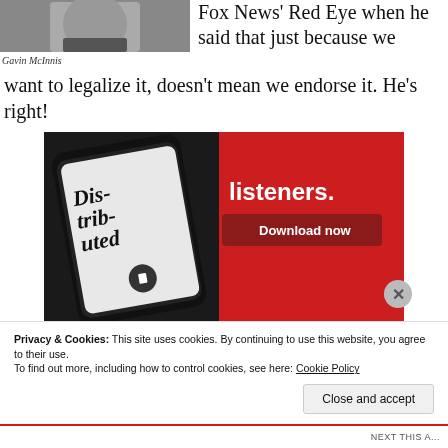[Figure (photo): Photo of Gavin McInnis, a bearded man, cropped to show face/shoulder area]
Gavin McInnis
Fox News' Red Eye when he said that just because we want to legalize it, doesn't mean we endorse it. He's right!
[Figure (screenshot): Advertisement banner with red background showing a smartphone running a podcast app with text 'Dis-trib-uted' and 'listeners.' with a 'Download now' button]
Privacy & Cookies: This site uses cookies. By continuing to use this website, you agree to their use.
To find out more, including how to control cookies, see here: Cookie Policy
Close and accept
NEXT THIS A...